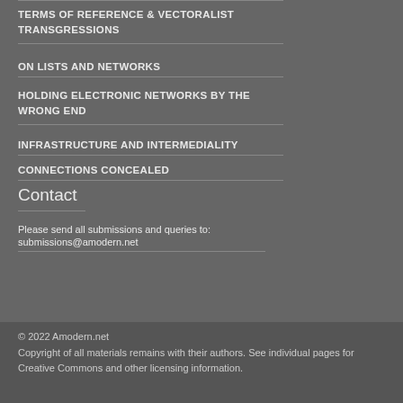TERMS OF REFERENCE & VECTORALIST TRANSGRESSIONS
ON LISTS AND NETWORKS
HOLDING ELECTRONIC NETWORKS BY THE WRONG END
INFRASTRUCTURE AND INTERMEDIALITY
CONNECTIONS CONCEALED
Contact
Please send all submissions and queries to: submissions@amodern.net
© 2022 Amodern.net
Copyright of all materials remains with their authors. See individual pages for Creative Commons and other licensing information.